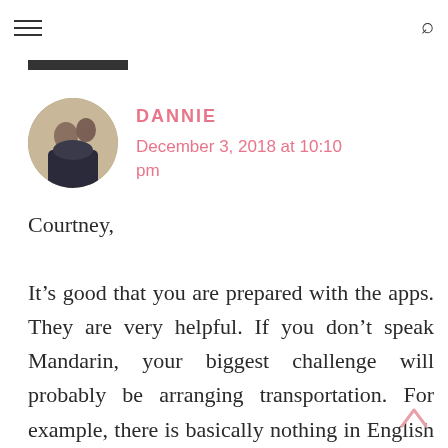Navigation menu and search icon
DANNIE
December 3, 2018 at 10:10 pm
Courtney,

It's good that you are prepared with the apps. They are very helpful. If you don't speak Mandarin, your biggest challenge will probably be arranging transportation. For example, there is basically nothing in English at the Dali transportation...